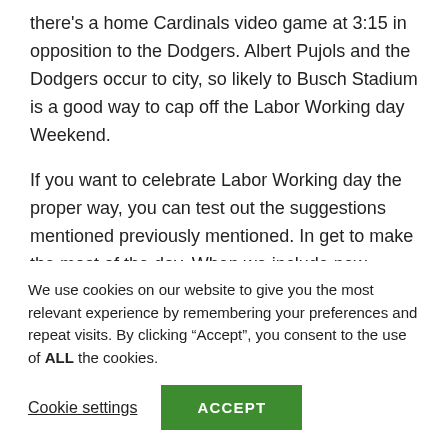there's a home Cardinals video game at 3:15 in opposition to the Dodgers. Albert Pujols and the Dodgers occur to city, so likely to Busch Stadium is a good way to cap off the Labor Working day Weekend.
If you want to celebrate Labor Working day the proper way, you can test out the suggestions mentioned previously mentioned. In get to make the most of the day. When we include new things to do our bodies must be well prepared for it, so hold your entire body on the wellness track along with accomplishing what you love
We use cookies on our website to give you the most relevant experience by remembering your preferences and repeat visits. By clicking “Accept”, you consent to the use of ALL the cookies.
Cookie settings | ACCEPT